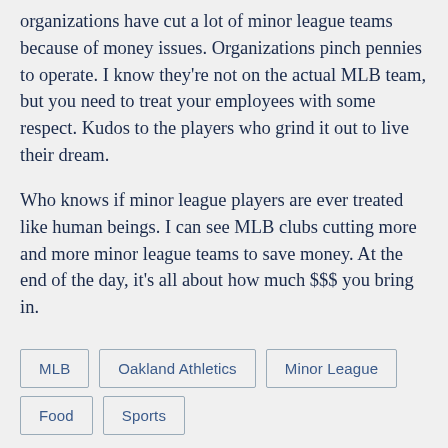organizations have cut a lot of minor league teams because of money issues. Organizations pinch pennies to operate. I know they're not on the actual MLB team, but you need to treat your employees with some respect. Kudos to the players who grind it out to live their dream.
Who knows if minor league players are ever treated like human beings. I can see MLB clubs cutting more and more minor league teams to save money. At the end of the day, it's all about how much $$$ you bring in.
MLB
Oakland Athletics
Minor League
Food
Sports